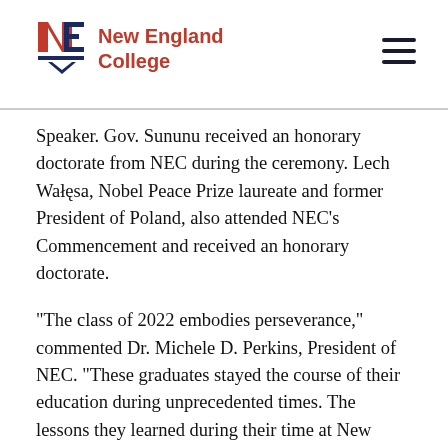New England College
Speaker. Gov. Sununu received an honorary doctorate from NEC during the ceremony. Lech Wałęsa, Nobel Peace Prize laureate and former President of Poland, also attended NEC's Commencement and received an honorary doctorate.
“The class of 2022 embodies perseverance,” commented Dr. Michele D. Perkins, President of NEC. “These graduates stayed the course of their education during unprecedented times. The lessons they learned during their time at New England College, both in the